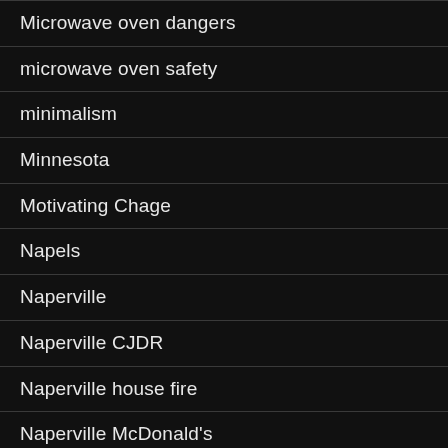Microwave oven dangers
microwave oven safety
minimalism
Minnesota
Motivating Chage
Napels
Naperville
Naperville CJDR
Naperville house fire
Naperville McDonald's
Naperville North High School
NASA
Narrations from life